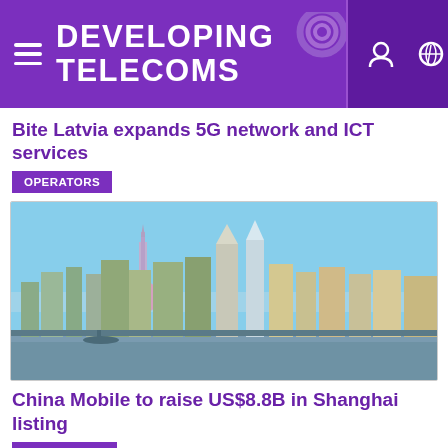DEVELOPING TELECOMS
Bite Latvia expands 5G network and ICT services
OPERATORS
[Figure (photo): Shanghai skyline featuring the Oriental Pearl Tower and Pudong skyscrapers reflected over the Huangpu River]
China Mobile to raise US$8.8B in Shanghai listing
INVESTMENT
[Figure (photo): Blue sky with clouds, partial view at bottom of page]